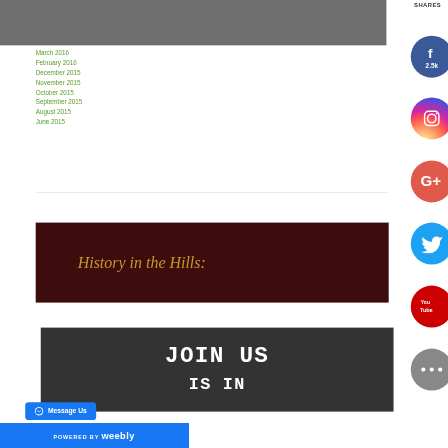SHARES
March 2016
February 2016
December 2015
November 2015
October 2015
September 2015
August 2015
June 2015
[Figure (other): History in the Hills banner with dark maroon background and gold italic text]
[Figure (photo): JOIN US chalkboard photo]
POWERED BY weebly